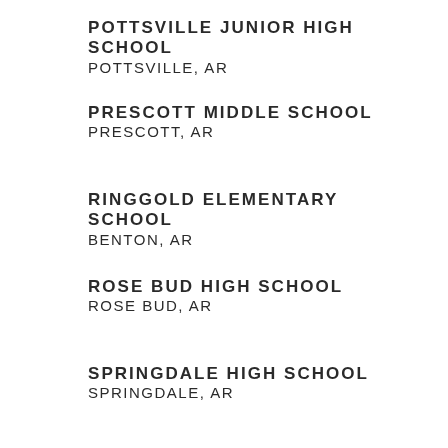POTTSVILLE JUNIOR HIGH SCHOOL
POTTSVILLE, AR
PRESCOTT MIDDLE SCHOOL
PRESCOTT, AR
RINGGOLD ELEMENTARY SCHOOL
BENTON, AR
ROSE BUD HIGH SCHOOL
ROSE BUD, AR
SPRINGDALE HIGH SCHOOL
SPRINGDALE, AR